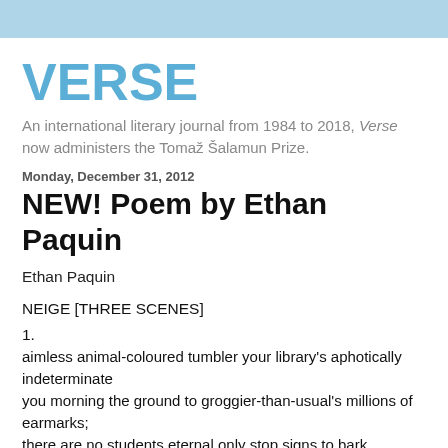VERSE
An international literary journal from 1984 to 2018, Verse now administers the Tomaž Šalamun Prize.
Monday, December 31, 2012
NEW! Poem by Ethan Paquin
Ethan Paquin
NEIGE [THREE SCENES]
1.
aimless animal-coloured tumbler your library's aphotically indeterminate
you morning the ground to groggier-than-usual's millions of earmarks;
there are no students eternal only stop signs to bark commands